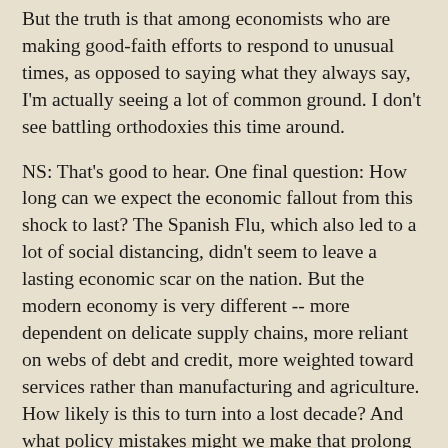But the truth is that among economists who are making good-faith efforts to respond to unusual times, as opposed to saying what they always say, I'm actually seeing a lot of common ground. I don't see battling orthodoxies this time around.
NS: That's good to hear. One final question: How long can we expect the economic fallout from this shock to last? The Spanish Flu, which also led to a lot of social distancing, didn't seem to leave a lasting economic scar on the nation. But the modern economy is very different -- more dependent on delicate supply chains, more reliant on webs of debt and credit, more weighted toward services rather than manufacturing and agriculture. How likely is this to turn into a lost decade? And what policy mistakes might we make that prolong the pain?
PK: I've been trying to get a handle on this by looking at recessions over the past 40 years. Until now we've had two